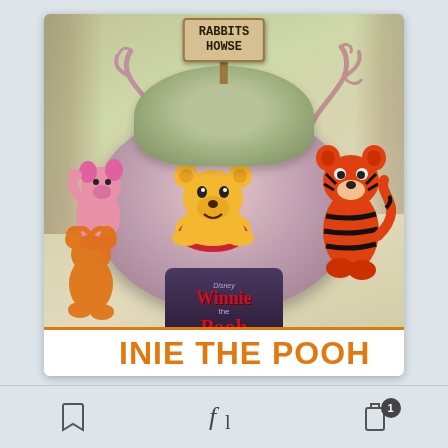[Figure (photo): Product photo of a Disney Winnie the Pooh diorama figure. Shows Winnie the Pooh (yellow bear) draped over a large pink rock/stump structure, with Tigger (red and black striped tiger) on the right and Piglet (pink) on the left. A green mossy top with antler branches and a wooden sign reading 'RABBITS HOWSE' sits atop the stump. The base/plinth is dark purple with 'Disney Winnie the Pooh' text in red. An orange Pooh silhouette watermark appears in the bottom left. A bottom banner shows 'WINNIE THE POOH' in orange text.]
Toolbar with bookmark icon, font icon, and badge icon showing number 1